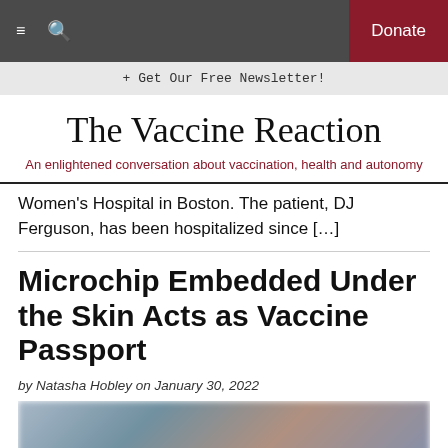≡  🔍  Donate
+ Get Our Free Newsletter!
The Vaccine Reaction
An enlightened conversation about vaccination, health and autonomy
Women's Hospital in Boston. The patient, DJ Ferguson, has been hospitalized since […]
Microchip Embedded Under the Skin Acts as Vaccine Passport
by Natasha Hobley on January 30, 2022
[Figure (photo): Blurred photo of a person's face, partially out of focus with blue and grey tones]